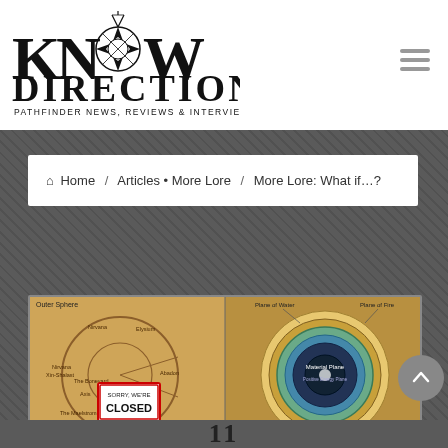[Figure (logo): Know Direction logo — stylized compass rose integrated into the word KNOW, with DIRECTION and subtitle 'Pathfinder News, Reviews & Interviews' below]
Home / Articles • More Lore / More Lore: What if…?
[Figure (illustration): A two-panel map illustration. Left panel shows 'Outer Sphere' cosmological diagram on aged parchment with labeled regions including Nirvana, Elysium, Abadon, The Graveyard, Axis, The Maelstrom, Hell, and Pharasma's Boneyard. A 'Sorry We're Closed' sign overlays the center. Right panel shows concentric rings labeled Plane of Water, Plane of Fire, Plane of Air, Plane of Earth, Ethereal Plane, and Material Plane and Positive Energy Plane in the center.]
11